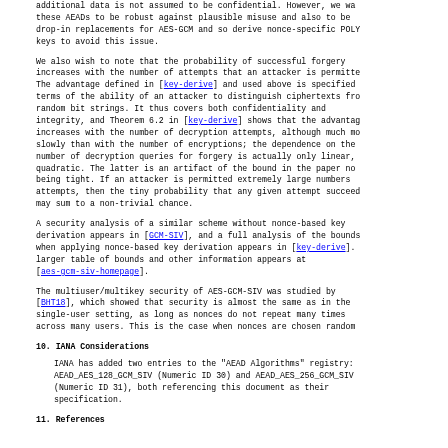additional data is not assumed to be confidential.  However, we want these AEADs to be robust against plausible misuse and also to be drop-in replacements for AES-GCM and so derive nonce-specific POLY keys to avoid this issue.
We also wish to note that the probability of successful forgery increases with the number of attempts that an attacker is permitted. The advantage defined in [key-derive] and used above is specified in terms of the ability of an attacker to distinguish ciphertexts from random bit strings.  It thus covers both confidentiality and integrity, and Theorem 6.2 in [key-derive] shows that the advantage increases with the number of decryption attempts, although much more slowly than with the number of encryptions; the dependence on the number of decryption queries for forgery is actually only linear, not quadratic.  The latter is an artifact of the bound in the paper not being tight.  If an attacker is permitted extremely large numbers of attempts, then the tiny probability that any given attempt succeeds may sum to a non-trivial chance.
A security analysis of a similar scheme without nonce-based key derivation appears in [GCM-SIV], and a full analysis of the bounds when applying nonce-based key derivation appears in [key-derive]. A larger table of bounds and other information appears at [aes-gcm-siv-homepage].
The multiuser/multikey security of AES-GCM-SIV was studied by [BHT18], which showed that security is almost the same as in the single-user setting, as long as nonces do not repeat many times across many users.  This is the case when nonces are chosen randomly
10.  IANA Considerations
IANA has added two entries to the "AEAD Algorithms" registry: AEAD_AES_128_GCM_SIV (Numeric ID 30) and AEAD_AES_256_GCM_SIV (Numeric ID 31), both referencing this document as their specification.
11.  References